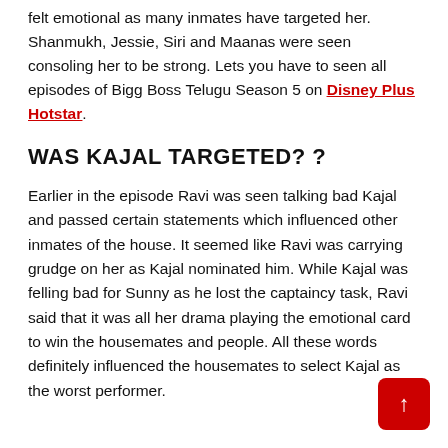felt emotional as many inmates have targeted her. Shanmukh, Jessie, Siri and Maanas were seen consoling her to be strong. Lets you have to seen all episodes of Bigg Boss Telugu Season 5 on Disney Plus Hotstar.
WAS KAJAL TARGETED? ?
Earlier in the episode Ravi was seen talking bad Kajal and passed certain statements which influenced other inmates of the house. It seemed like Ravi was carrying grudge on her as Kajal nominated him. While Kajal was felling bad for Sunny as he lost the captaincy task, Ravi said that it was all her drama playing the emotional card to win the housemates and people. All these words definitely influenced the housemates to select Kajal as the worst performer.